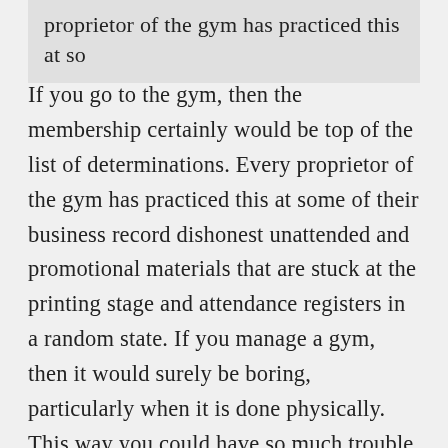proprietor of the gym has practiced this at so
If you go to the gym, then the membership certainly would be top of the list of determinations. Every proprietor of the gym has practiced this at some of their business record dishonest unattended and promotional materials that are stuck at the printing stage and attendance registers in a random state. If you manage a gym, then it would surely be boring, particularly when it is done physically. This way you could have so much trouble which you do not want to